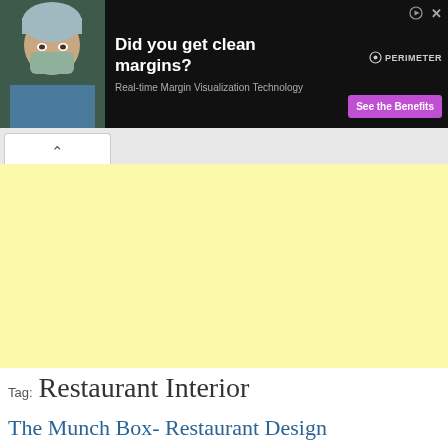[Figure (screenshot): Advertisement banner with dark background. Left side shows a medical professional wearing surgical mask and scrubs. Text reads 'Did you get clean margins?' with subtitle 'Real-time Margin Visualization Technology'. Right side shows 'PERIMETER' logo and purple 'See the Benefits' button.]
[Figure (screenshot): Browser tab interface element showing a caret/up arrow symbol on a white tab.]
[Figure (screenshot): Large yellow/cream colored advertisement placeholder area.]
Tag: Restaurant Interior
The Munch Box- Restaurant Design